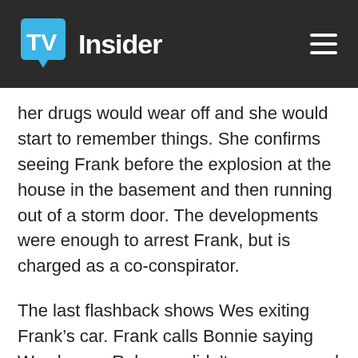TV Insider
her drugs would wear off and she would start to remember things. She confirms seeing Frank before the explosion at the house in the basement and then running out of a storm door. The developments were enough to arrest Frank, but is charged as a co-conspirator.
The last flashback shows Wes exiting Frank’s car. Frank calls Bonnie saying Wes knows Rebecca didn’t run away and is dead. Bonnie gives him directive to follow Wes, but that’s all we get this week. The D.A. couldn’t locate